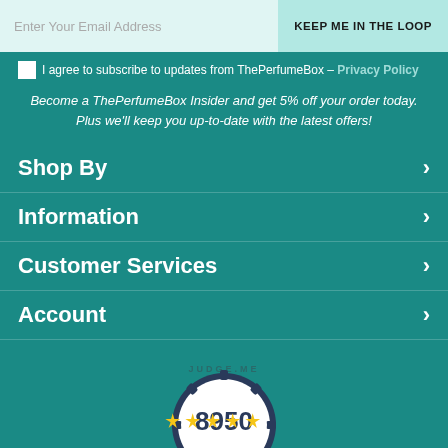Enter Your Email Address
KEEP ME IN THE LOOP
I agree to subscribe to updates from ThePerfumeBox – Privacy Policy
Become a ThePerfumeBox Insider and get 5% off your order today. Plus we'll keep you up-to-date with the latest offers!
Shop By
Information
Customer Services
Account
[Figure (illustration): Judge.me badge showing 8950 Verified Reviews with 5 gold stars, teal ribbon design with laurel wreath]